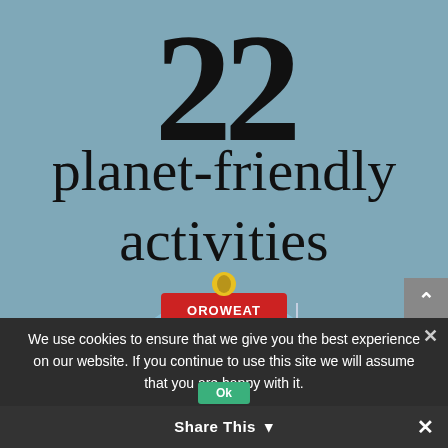22 planet-friendly activities
[Figure (logo): Oroweat Organic Biologique Loaf/Miche logo on a globe illustration with wind turbines]
We use cookies to ensure that we give you the best experience on our website. If you continue to use this site we will assume that you are happy with it.
Share This